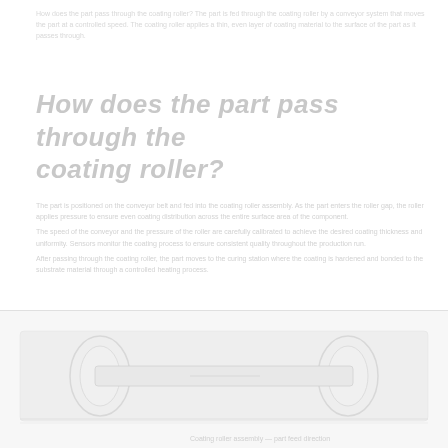How does the part pass through the coating roller?
How does the part pass through the coating roller?
[Figure (photo): Image showing a part passing through a coating roller mechanism, depicted in faded/watermark style]